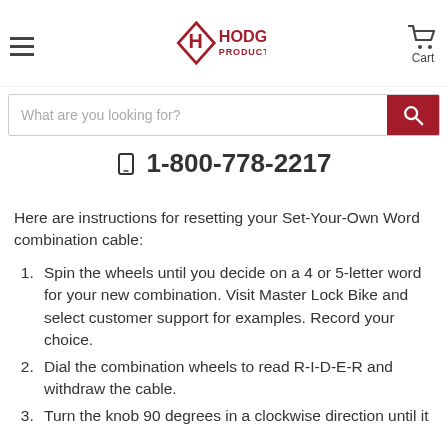Hodge Products Inc — Navigation header with logo, hamburger menu, and cart
What are you looking for? [search bar]
☎ 1-800-778-2217
Here are instructions for resetting your Set-Your-Own Word combination cable:
Spin the wheels until you decide on a 4 or 5-letter word for your new combination. Visit Master Lock Bike and select customer support for examples. Record your choice.
Dial the combination wheels to read R-I-D-E-R and withdraw the cable.
Turn the knob 90 degrees in a clockwise direction until it